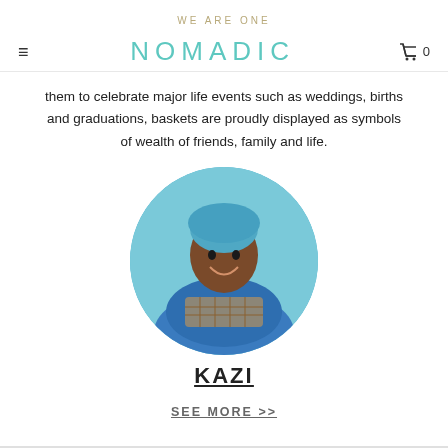WE ARE ONE
NOMADIC  0
them to celebrate major life events such as weddings, births and graduations, baskets are proudly displayed as symbols of wealth of friends, family and life.
[Figure (photo): Circular portrait photo of a woman named Kazi, smiling, wearing a blue headwrap and colorful patterned clothing, holding a woven basket. Background is light blue.]
KAZI
SEE MORE >>